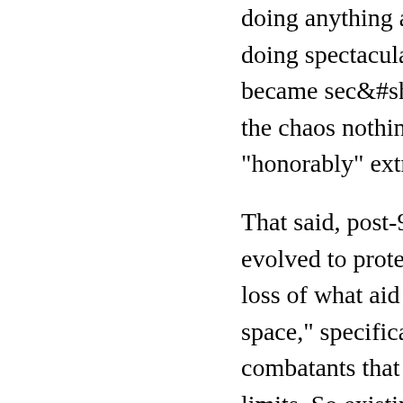doing anything and were very bad optics. AQI was simply doing spectacular events and assassination. Our task became securing the population because the with the chaos nothing could get done and we couldn't "honorably" extract ourselves.
That said, post-9/11 insurgencies may have evolved to protecting the population because of the loss of what aid workers call the "humanitarian space," specifically, the understanding by combatants that neutrals (NGOs, civilians) are off limits. So existing and future ones may fit in more with our existing doctrine. Insurgents now benefit in terms of financing and survival by maintaining the chaos and can wait out the occupier or existing government, which is probably corrupt and just as willing to prey on the population if given the opp